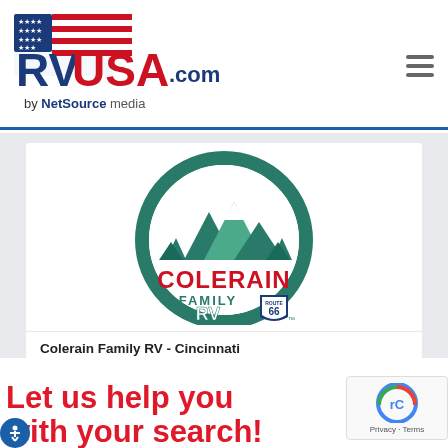RVUSA.com by NetSource media
[Figure (logo): Colerain Family RV Route 66 circular logo with mountains and trees in teal/green, COLERAIN in red, FAMILY in teal, RV in white, Route 66 shield badge]
Colerain Family RV - Cincinnati
3491 Struble Road
Cincinnati OH 45251
More listings by this seller
Let us help you
with your search!